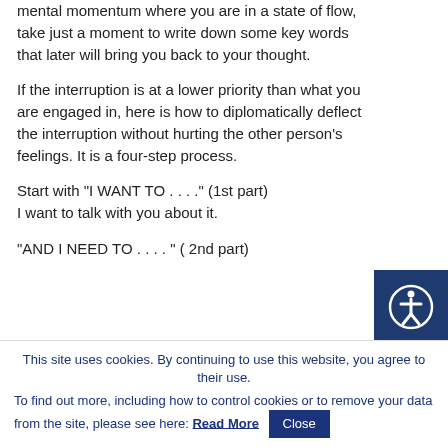mental momentum where you are in a state of flow, take just a moment to write down some key words that later will bring you back to your thought.
If the interruption is at a lower priority than what you are engaged in, here is how to diplomatically deflect the interruption without hurting the other person’s feelings. It is a four-step process.
Start with “I WANT TO . . . .” (1st part)
I want to talk with you about it.
“AND I NEED TO . . . . ” ( 2nd part)
This site uses cookies. By continuing to use this website, you agree to their use.
To find out more, including how to control cookies or to remove your data from the site, please see here: Read More
Close